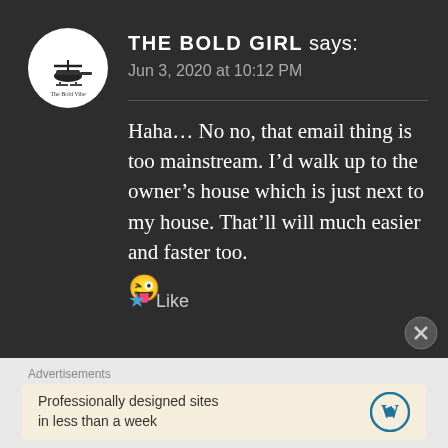THE BOLD GIRL says:
Jun 3, 2020 at 10:12 PM
Haha… No no, that email thing is too mainstream. I'd walk up to the owner's house which is just next to my house. That'll will much easier and faster too. 😜
★ Like
Advertisements
Professionally designed sites in less than a week